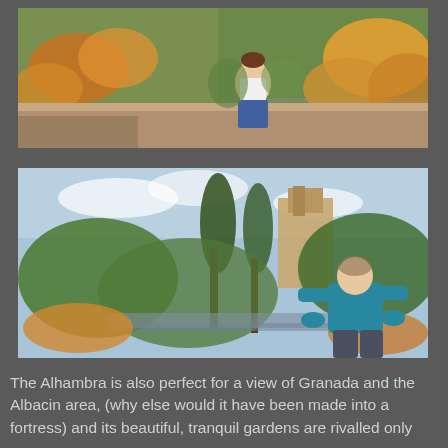[Figure (photo): A woman with curly hair sitting on a ledge surrounded by orange and yellow flowers in a garden, likely at the Alhambra.]
[Figure (photo): A man in a teal polo shirt standing in a lush green garden with trees and a building in the background, likely at the Alhambra.]
The Alhambra is also perfect for a view of Granada and the Albacin area, (why else would it have been made into a fortress)  and its beautiful, tranquil gardens are rivalled only